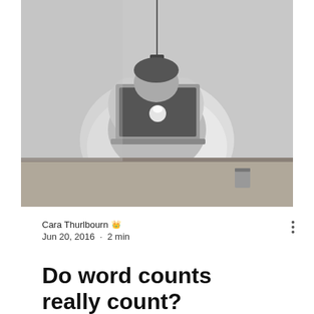[Figure (photo): Black and white photo of a person sitting with knees up, holding an Apple MacBook laptop, viewed from across a table surface. The person's face is obscured behind the laptop screen. A pendant light hangs from the ceiling above.]
Cara Thurlbourn 👑
Jun 20, 2016 · 2 min
Do word counts really count?